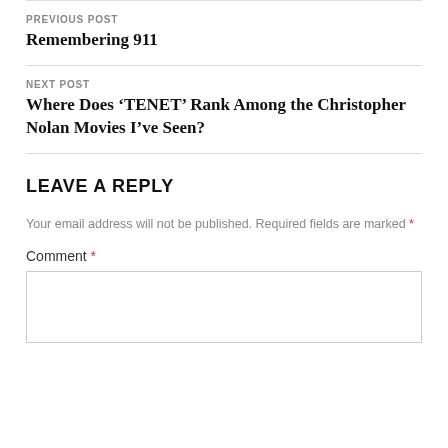PREVIOUS POST
Remembering 911
NEXT POST
Where Does ‘TENET’ Rank Among the Christopher Nolan Movies I’ve Seen?
LEAVE A REPLY
Your email address will not be published. Required fields are marked *
Comment *